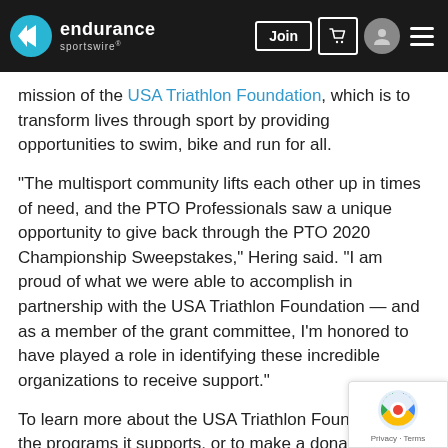endurance sportswire — navigation header with Join button, cart, avatar, and menu
mission of the USA Triathlon Foundation, which is to transform lives through sport by providing opportunities to swim, bike and run for all.
“The multisport community lifts each other up in times of need, and the PTO Professionals saw a unique opportunity to give back through the PTO 2020 Championship Sweepstakes,” Hering said. “I am proud of what we were able to accomplish in partnership with the USA Triathlon Foundation — and as a member of the grant committee, I’m honored to have played a role in identifying these incredible organizations to receive support.”
To learn more about the USA Triathlon Foundation and the programs it supports, or to make a donation, visit usatriathlonfoundation.org.